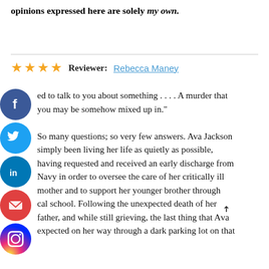opinions expressed here are solely my own.
Reviewer: Rebecca Maney
ed to talk to you about something . . . . A murder that you may be somehow mixed up in."

So many questions; so very few answers. Ava Jackson simply been living her life as quietly as possible, having requested and received an early discharge from Navy in order to oversee the care of her critically ill mother and to support her younger brother through cal school. Following the unexpected death of her father, and while still grieving, the last thing that Ava expected on her way through a dark parking lot on that
[Figure (infographic): Social media share buttons: Facebook (blue circle with f), Twitter (blue circle with bird), LinkedIn (blue circle with in), Email (red circle with envelope), Instagram (gradient circle with camera)]